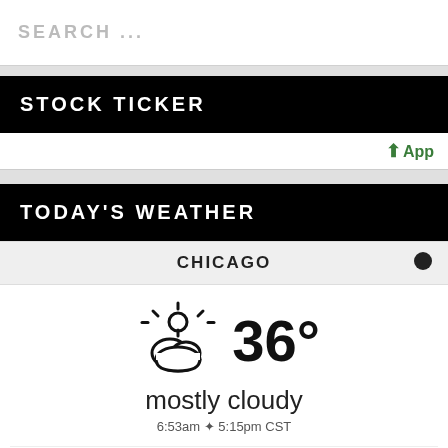SEARCH ...
STOCK TICKER
App
TODAY'S WEATHER
CHICAGO
[Figure (infographic): Weather widget showing mostly cloudy, 36 degrees, sunrise 6:53am sunset 5:15pm CST, with forecast: thu 30/27°F, fri 41/14°F, sat 19/12°F]
mostly cloudy
6:53am ✦ 5:15pm CST
thu
30/27°F
fri
41/14°F
sat
19/12°F